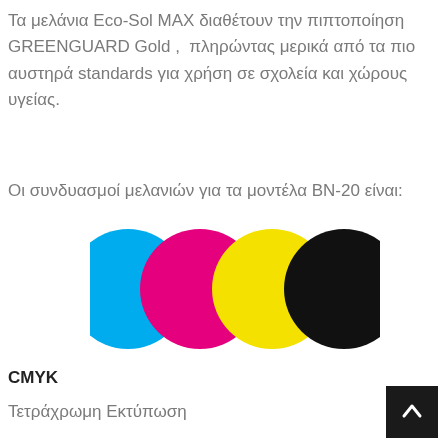Τα μελάνια Eco-Sol MAX διαθέτουν την πιπτοποίηση GREENGUARD Gold ,  πληρώντας μερικά από τα πιο αυστηρά standards για χρήση σε σχολεία και χώρους υγείας.
Οι συνδυασμοί μελανιών για τα μοντέλα BN-20 είναι:
[Figure (illustration): Four overlapping CMYK color circles: cyan, magenta, yellow, and black, arranged in a row with slight overlap.]
CMYK
Τετράχρωμη Εκτύπωση